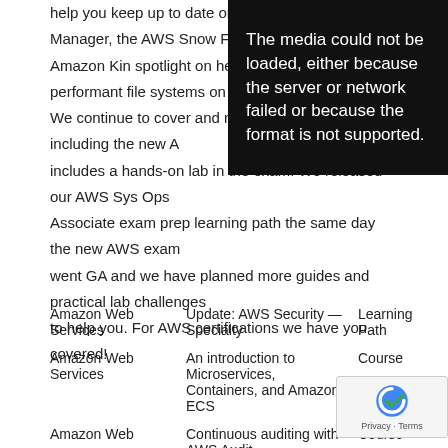help you keep up to date on AWS Systems Manager, the AWS Snow Family, AWS WAF, Amazon Kinesis… spotlight on helping you master … performant file systems on Amaz… We continue to cover and maintain … certifications, including the new A… includes a hands-on lab in the exam. We released our AWS Sys Ops Associate exam prep learning path the same day the new AWS exam went GA and we have planned more guides and practical lab challenges to help you. For AWS certifications we have you covered!
[Figure (other): Media error overlay: black box with white text reading 'The media could not be loaded, either because the server or network failed or because the format is not supported.']
|  |  |  |
| --- | --- | --- |
| Amazon Web Services | Update: AWS Security — Specialty | Learning Path |
| Amazon Web Services | An introduction to Microservices, Containers, and Amazon ECS | Course |
| Amazon Web Services | Continuous auditing with AWS Audit | Course |